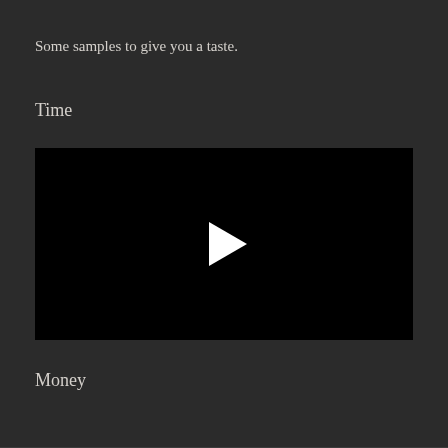Some samples to give you a taste.
Time
[Figure (screenshot): Black video player thumbnail with a white play button triangle in the center]
Money